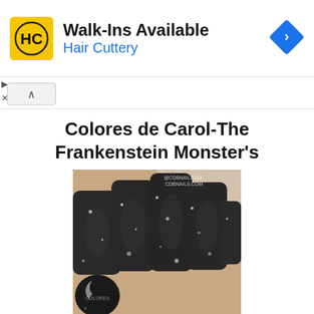[Figure (photo): Hair Cuttery advertisement banner with yellow HC logo, 'Walk-Ins Available' headline, 'Hair Cuttery' subtext in blue, and a blue navigation arrow icon on the right]
Colores de Carol-The Frankenstein Monster's
[Figure (photo): Close-up photo of hands with dark charcoal/black nail polish with silver glitter flecks, alongside a bottle of Colores de Carol nail polish with a crescent moon logo. Watermark reads @CDBNAILS143 CDBNAILS.COM]